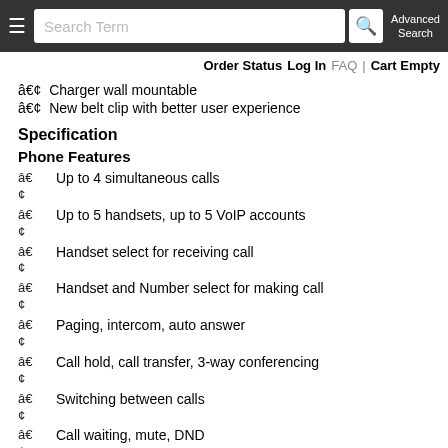Search Term | Advanced Search | Order Status | Log In | FAQ | Cart Empty
â€¢  Charger wall mountable
â€¢  New belt clip with better user experience
Specification
Phone Features
â€¢  Up to 4 simultaneous calls
â€¢  Up to 5 handsets, up to 5 VoIP accounts
â€¢  Handset select for receiving call
â€¢  Handset and Number select for making call
â€¢  Paging, intercom, auto answer
â€¢  Call hold, call transfer, 3-way conferencing
â€¢  Switching between calls
â€¢  Call waiting, mute, DND
â€¢  Caller ID display, redial
â€¢  Anonymous call, anonymous call rejection